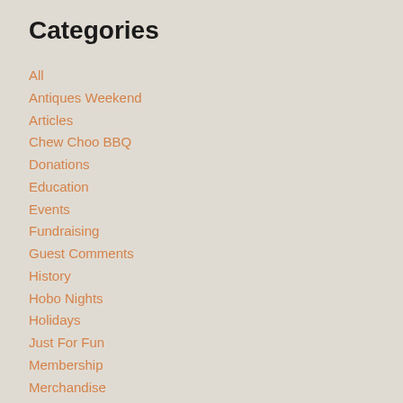Categories
All
Antiques Weekend
Articles
Chew Choo BBQ
Donations
Education
Events
Fundraising
Guest Comments
History
Hobo Nights
Holidays
Just For Fun
Membership
Merchandise
Model Trains
Movies
Museum Display
Museum News